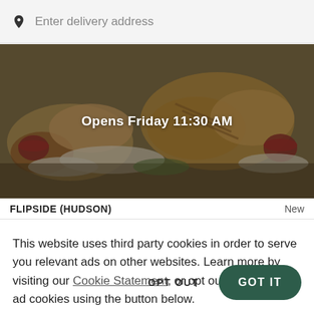Enter delivery address
[Figure (photo): Food photo showing sandwiches and dipping sauces on a dark background with overlay text 'Opens Friday 11:30 AM']
FLIPSIDE (HUDSON)  New
This website uses third party cookies in order to serve you relevant ads on other websites. Learn more by visiting our Cookie Statement, or opt out of third party ad cookies using the button below.
OPT OUT
GOT IT